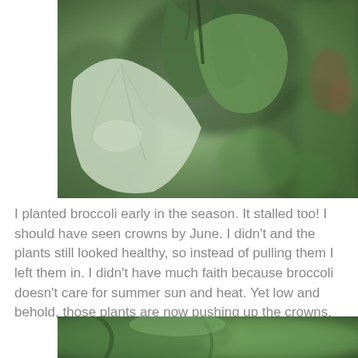[Figure (photo): Close-up photograph of green broccoli or cabbage plant leaves with blurred background showing green foliage and a hint of red]
I planted broccoli early in the season. It stalled too! I should have seen crowns by June. I didn't and the plants still looked healthy, so instead of pulling them I left them in. I didn't have much faith because broccoli doesn't care for summer sun and heat. Yet low and behold, those plants are now pushing up the crowns.
[Figure (photo): Partial photograph of green plant leaves, cropped at the bottom of the page]